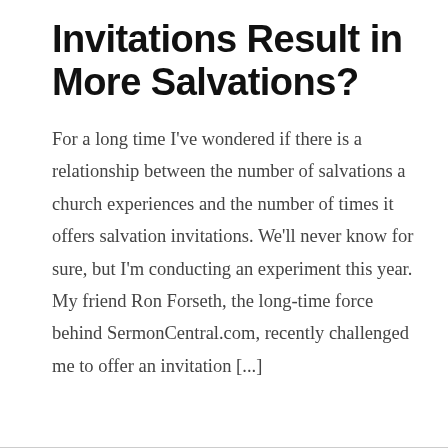Invitations Result in More Salvations?
For a long time I've wondered if there is a relationship between the number of salvations a church experiences and the number of times it offers salvation invitations. We'll never know for sure, but I'm conducting an experiment this year. My friend Ron Forseth, the long-time force behind SermonCentral.com, recently challenged me to offer an invitation [...]